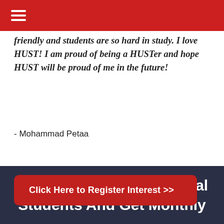Navigation bar with hamburger menu
friendly and students are so hard in study. I love HUST! I am proud of being a HUSTer and hope HUST will be proud of me in the future!
- Mohammad Petaa
Click Here to Register Interest >>
Join 180,000+ International Students And Get Monthly